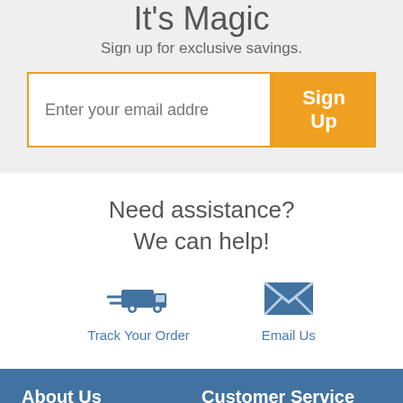It's Magic
Sign up for exclusive savings.
[Figure (screenshot): Email signup input field with placeholder 'Enter your email address' and an orange 'Sign Up' button]
Need assistance?
We can help!
[Figure (illustration): Blue delivery truck icon with speed lines]
Track Your Order
[Figure (illustration): Blue envelope/email icon]
Email Us
About Us
Customer Service
Birthday Party Supplies
Return & Refund Policy
Party Ideas
Shipping Policy
Company Information
Privacy Policy